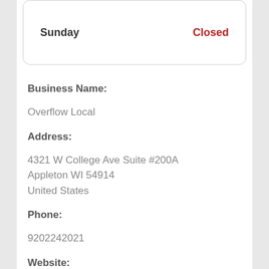| Day | Status |
| --- | --- |
| Sunday | Closed |
Business Name:
Overflow Local
Address:
4321 W College Ave Suite #200A
Appleton WI 54914
United States
Phone:
9202242021
Website: